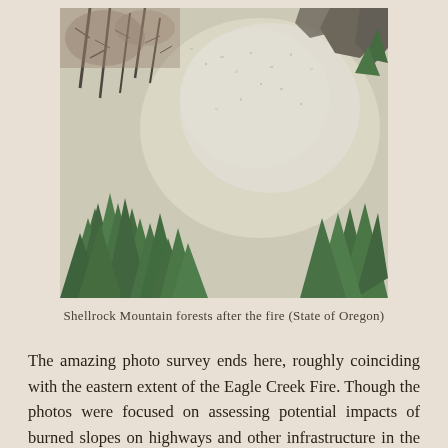[Figure (photo): Aerial or elevated view of Shellrock Mountain forests after the Eagle Creek Fire. The image shows a mix of green conifer trees on the left side and lower portions, with a large pale grey-beige rocky or ash-covered slope in the center and right. Some burned/dead trees (dark, bare) are visible mixed with surviving green conifers.]
Shellrock Mountain forests after the fire (State of Oregon)
The amazing photo survey ends here, roughly coinciding with the eastern extent of the Eagle Creek Fire. Though the photos were focused on assessing potential impacts of burned slopes on highways and other infrastructure in the Gorge, they also serve as an invaluable snapshot of